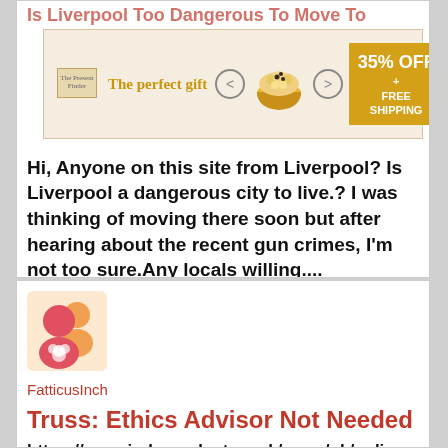Is Liverpool Too Dangerous To Move To
[Figure (other): Advertisement banner for The Present Finder gift shop showing 'The perfect gift' text, a bowl of popcorn or similar food, navigation arrows, and a 35% OFF + FREE SHIPPING badge]
Hi, Anyone on this site from Liverpool? Is Liverpool a dangerous city to live.? I was thinking of moving there soon but after hearing about the recent gun crimes, I'm not too sure.Any locals willing....
14:25 Wed 24th Aug 2022
32 answers, last by Zacs-Master 16:40 Wed 24th Aug 2022
[Figure (illustration): User avatar icon showing two cartoon-style people figures in pink/orange tones]
FatticusInch
Truss: Ethics Advisor Not Needed
https://www.independent.co.uk/news/uk/poli...